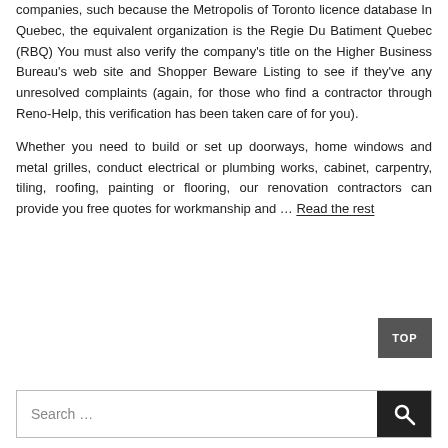companies, such because the Metropolis of Toronto licence database In Quebec, the equivalent organization is the Regie Du Batiment Quebec (RBQ) You must also verify the company's title on the Higher Business Bureau's web site and Shopper Beware Listing to see if they've any unresolved complaints (again, for those who find a contractor through Reno-Help, this verification has been taken care of for you).
Whether you need to build or set up doorways, home windows and metal grilles, conduct electrical or plumbing works, cabinet, carpentry, tiling, roofing, painting or flooring, our renovation contractors can provide you free quotes for workmanship and … Read the rest
Search ...